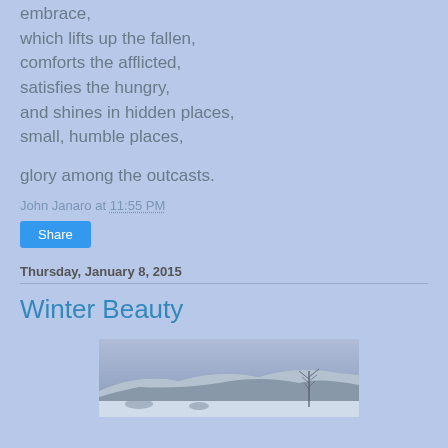embrace,
which lifts up the fallen,
comforts the afflicted,
satisfies the hungry,
and shines in hidden places,
small, humble places,

glory among the outcasts.
John Janaro at 11:55 PM
Share
Thursday, January 8, 2015
Winter Beauty
[Figure (photo): Winter landscape photograph showing snowy hills with bare trees against a pale blue-grey sky]